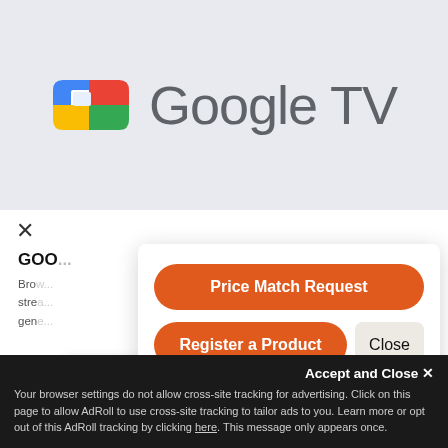[Figure (screenshot): Google TV logo with colorful icon (green, blue, red, yellow) and grey 'Google TV' text on light grey background]
GOO...
Bro...
stre...
gen...
[Figure (screenshot): Chat widget overlay with two orange buttons: 'Price Match Request' and 'Register a Product', plus a 'Close' button]
Price Match Request
Register a Product
Close
Write a message...
Accept and Close ✕
Your browser settings do not allow cross-site tracking for advertising. Click on this page to allow AdRoll to use cross-site tracking to tailor ads to you. Learn more or opt out of this AdRoll tracking by clicking here. This message only appears once.